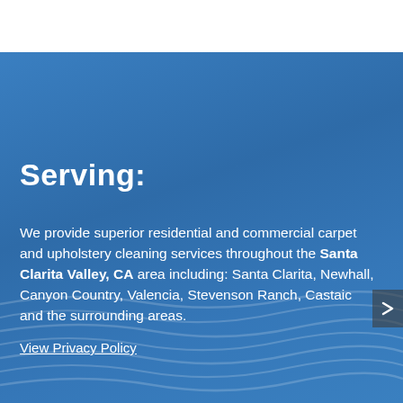Serving:
We provide superior residential and commercial carpet and upholstery cleaning services throughout the Santa Clarita Valley, CA area including: Santa Clarita, Newhall, Canyon Country, Valencia, Stevenson Ranch, Castaic and the surrounding areas.
View Privacy Policy